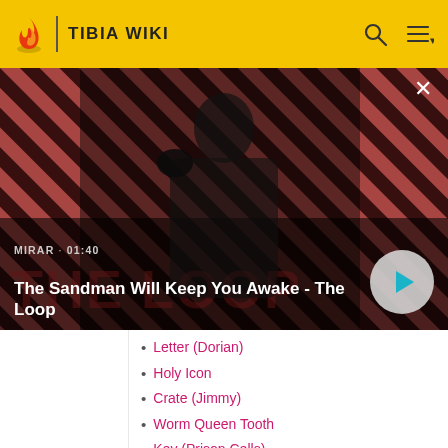TIBIA WIKI
[Figure (screenshot): Video thumbnail for 'The Sandman Will Keep You Awake - The Loop' showing a dark figure with a raven on their shoulder against a red and dark striped background. Shows MIRAR · 01:40 label and a play button.]
Letter (Dorian)
Holy Icon
Crate (Jimmy)
Worm Queen Tooth
Key (Prison Cells)
Silver Key (Private Room)